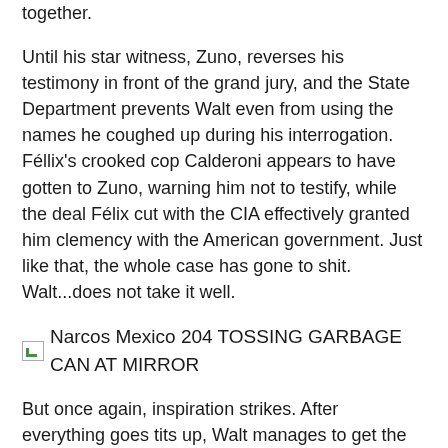together.
Until his star witness, Zuno, reverses his testimony in front of the grand jury, and the State Department prevents Walt even from using the names he coughed up during his interrogation. Féllix's crooked cop Calderoni appears to have gotten to Zuno, warning him not to testify, while the deal Félix cut with the CIA effectively granted him clemency with the American government. Just like that, the whole case has gone to shit. Walt...does not take it well.
[Figure (photo): Narcos Mexico 204 TOSSING GARBAGE CAN AT MIRROR — image placeholder with broken image icon]
But once again, inspiration strikes. After everything goes tits up, Walt manages to get the drop on an unseen figure who's been following him for most of the episode. That person turns out to be Calderoni, who pleads his case to Walt at gunpoint in a crowded bar, telling him he had no choice but to help Félix escape last season and help shut down the Zuno case now. But he liked Kiki personally, he says, and doesn't want the bastards